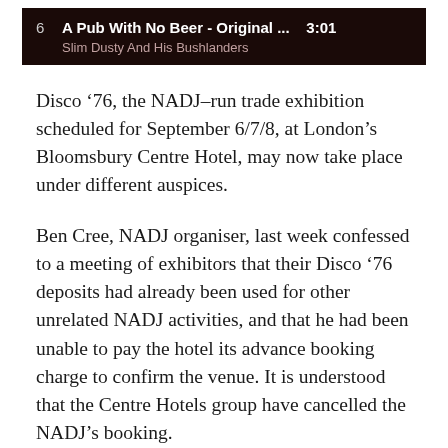[Figure (screenshot): Music player bar showing track 6: 'A Pub With No Beer - Original ...' by Slim Dusty And His Bushlanders, duration 3:01, dark brown background]
Disco '76, the NADJ-run trade exhibition scheduled for September 6/7/8, at London's Bloomsbury Centre Hotel, may now take place under different auspices.
Ben Cree, NADJ organiser, last week confessed to a meeting of exhibitors that their Disco '76 deposits had already been used for other unrelated NADJ activities, and that he had been unable to pay the hotel its advance booking charge to confirm the venue. It is understood that the Centre Hotels group have cancelled the NADJ's booking.